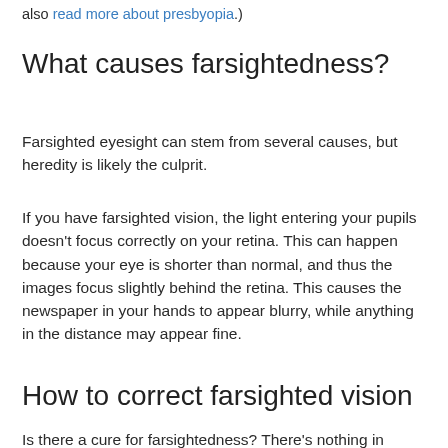also read more about presbyopia.)
What causes farsightedness?
Farsighted eyesight can stem from several causes, but heredity is likely the culprit.
If you have farsighted vision, the light entering your pupils doesn’t focus correctly on your retina. This can happen because your eye is shorter than normal, and thus the images focus slightly behind the retina. This causes the newspaper in your hands to appear blurry, while anything in the distance may appear fine.
How to correct farsighted vision
Is there a cure for farsightedness? There’s nothing in